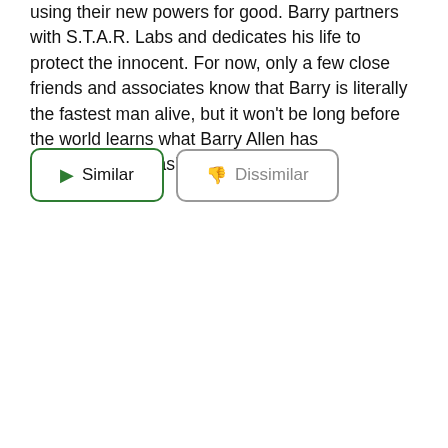using their new powers for good. Barry partners with S.T.A.R. Labs and dedicates his life to protect the innocent. For now, only a few close friends and associates know that Barry is literally the fastest man alive, but it won't be long before the world learns what Barry Allen has become...The Flash.
[Figure (other): Two buttons side by side: a 'Similar' button with a green play arrow icon and green border, and a 'Dissimilar' button with a grey thumbs-down icon and grey border.]